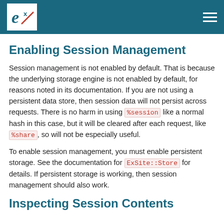ExSite logo and navigation
Enabling Session Management
Session management is not enabled by default. That is because the underlying storage engine is not enabled by default, for reasons noted in its documentation. If you are not using a persistent data store, then session data will not persist across requests. There is no harm in using %session like a normal hash in this case, but it will be cleared after each request, like %share, so will not be especially useful.
To enable session management, you must enable persistent storage. See the documentation for ExSite::Store for details. If persistent storage is working, then session management should also work.
Inspecting Session Contents